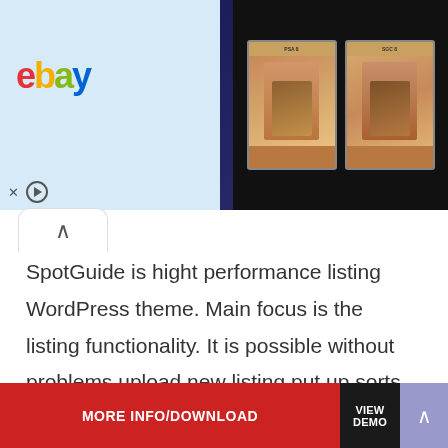[Figure (screenshot): eBay advertisement banner showing 'Vault your cards today and save' with baseball card images]
SpotGuide is hight performance listing WordPress theme. Main focus is the listing functionality. It is possible without problems upload new listing put up sorts or you may use nicely organized already present list sorts. Theme bundles fields plugin which permits to create and assign new metaboxes and fields to listing submit kinds. You don't must edit the source code to add new discipline.
MORE INFO/DOWNLOAD
VIEW DEMO